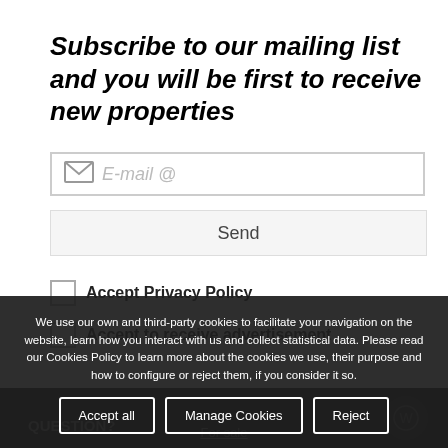Subscribe to our mailing list and you will be first to receive new properties
E-mail @
Send
Accept Privacy Policy
Accept to receive advertisement
We use our own and third-party cookies to facilitate your navigation on the website, learn how you interact with us and collect statistical data. Please read our Cookies Policy to learn more about the cookies we use, their purpose and how to configure or reject them, if you consider it so.
Accept all  Manage Cookies  Reject
QUESTION?
For sale